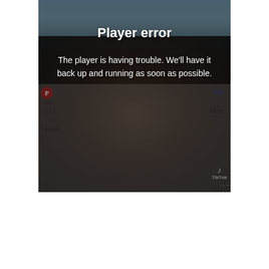[Figure (screenshot): A video player error screen overlaid on a TikTok/Pinterest embedded video showing a person wearing a grey beanie with an outdoor mountain background. The player shows a dark overlay with error text.]
Player error
The player is having trouble. We'll have it back up and running as soon as possible.